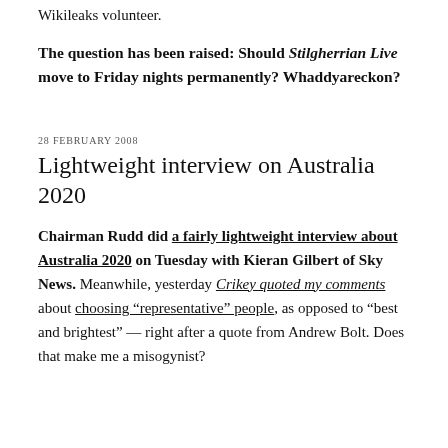Wikileaks volunteer.
The question has been raised: Should Stilgherrian Live move to Friday nights permanently? Whaddyareckon?
28 FEBRUARY 2008
Lightweight interview on Australia 2020
Chairman Rudd did a fairly lightweight interview about Australia 2020 on Tuesday with Kieran Gilbert of Sky News. Meanwhile, yesterday Crikey quoted my comments about choosing “representative” people, as opposed to “best and brightest” — right after a quote from Andrew Bolt. Does that make me a misogynist?